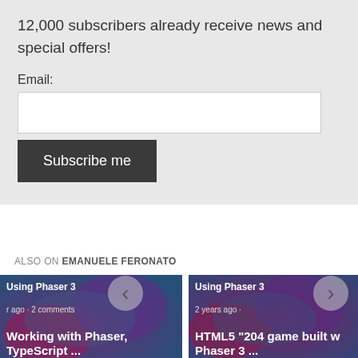12,000 subscribers already receive news and special offers!
Email:
[Figure (screenshot): Subscribe me button and email input field on light gray background]
ALSO ON EMANUELE FERONATO
[Figure (screenshot): Card: Using Phaser 3 - Working with Phaser, TypeScript ... - r ago • 2 comments]
[Figure (screenshot): Card: Using Phaser 3 - HTML5 '204 game built w Phaser 3 ... - 2 years ago •]